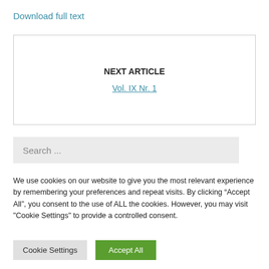Download full text
NEXT ARTICLE
Vol. IX Nr. 1
Search ...
We use cookies on our website to give you the most relevant experience by remembering your preferences and repeat visits. By clicking “Accept All”, you consent to the use of ALL the cookies. However, you may visit "Cookie Settings" to provide a controlled consent.
Cookie Settings
Accept All